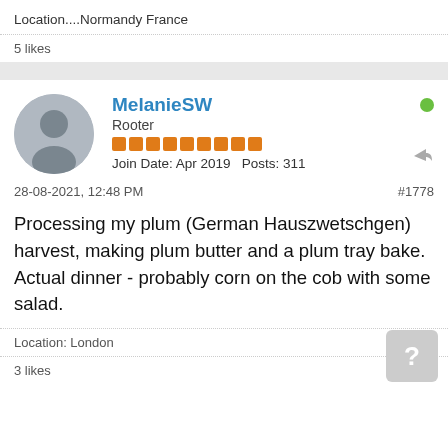Location....Normandy France
5 likes
MelanieSW
Rooter
Join Date: Apr 2019   Posts: 311
28-08-2021, 12:48 PM
#1778
Processing my plum (German Hauszwetschgen) harvest, making plum butter and a plum tray bake. Actual dinner - probably corn on the cob with some salad.
Location: London
3 likes